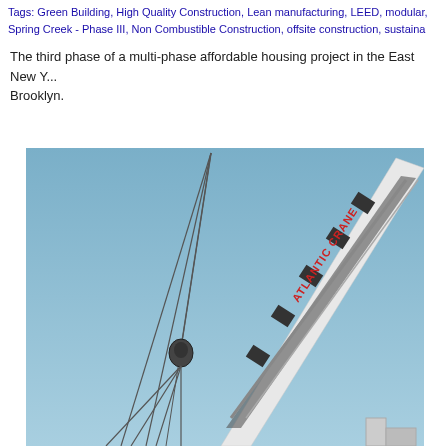Tags: Green Building, High Quality Construction, Lean manufacturing, LEED, modular, Spring Creek - Phase III, Non Combustible Construction, offsite construction, sustaina...
The third phase of a multi-phase affordable housing project in the East New York neighborhood of Brooklyn.
[Figure (photo): Photo of an Atlantic Crane boom extending diagonally against a clear blue sky, with crane cables and hook visible on the left side.]